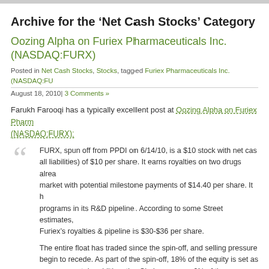Archive for the ‘Net Cash Stocks’ Category
Oozing Alpha on Furiex Pharmaceuticals Inc. (NASDAQ:FURX)
Posted in Net Cash Stocks, Stocks, tagged Furiex Pharmaceuticals Inc. (NASDAQ:FU...
August 18, 2010| 3 Comments »
Farukh Farooqi has a typically excellent post at Oozing Alpha on Furiex Pharm... (NASDAQ:FURX):
FURX, spun off from PPDI on 6/14/10, is a $10 stock with net cash (all liabilities) of $10 per share. It earns royalties on two drugs already on market with potential milestone payments of $14.40 per share. It h... programs in its R&D pipeline. According to some Street estimates, Furiex’s royalties & pipeline is $30-$36 per share.
The entire float has traded since the spin-off, and selling pressure... begin to recede. As part of the spin-off, 18% of the equity is set as... management. In addition, the Chairman owns 6% of the outstandin...
Spin-Off Background: On June 14, 2010, Pharmaceutical Produ... Development Inc. (PPDI), a Contract Research Organization, spu... discovery business to shareholders in a tax free transaction.